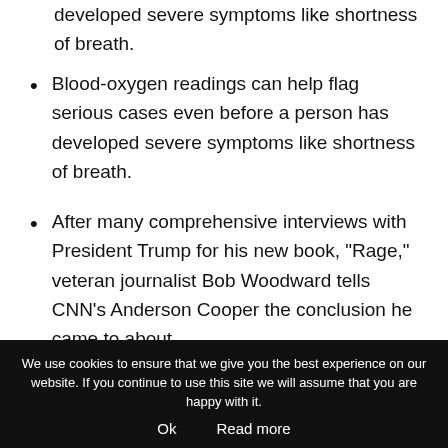developed severe symptoms like shortness of breath.
Blood-oxygen readings can help flag serious cases even before a person has developed severe symptoms like shortness of breath.
After many comprehensive interviews with President Trump for his new book, “Rage,” veteran journalist Bob Woodward tells CNN’s Anderson Cooper the conclusion he came to about
We use cookies to ensure that we give you the best experience on our website. If you continue to use this site we will assume that you are happy with it.
Ok   Read more